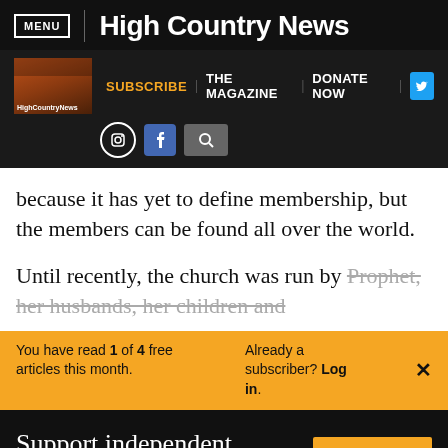MENU | High Country News
[Figure (screenshot): High Country News secondary navigation bar with magazine thumbnail, Subscribe, The Magazine, Donate Now links, Twitter button, and Instagram, Facebook, search icons]
because it has yet to define membership, but the members can be found all over the world.
Until recently, the church was run by Prophet, her husbands, her children and
You have read 1 of 4 free articles this month. Already a subscriber? Log in.
Support independent journalism. Subscribe